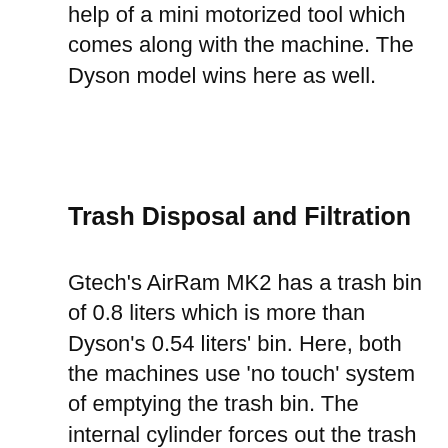help of a mini motorized tool which comes along with the machine. The Dyson model wins here as well.
Trash Disposal and Filtration
Gtech's AirRam MK2 has a trash bin of 0.8 liters which is more than Dyson's 0.54 liters' bin. Here, both the machines use 'no touch' system of emptying the trash bin. The internal cylinder forces out the trash contents and you do not have to rely on gravity or touch the dirt. Because in the previous model of Dyson V6 the dirt used to stick to the insides of the machine, this is an improvement on the trash disposal. For the Gtech MK2 model, a slider forces out the dust into your dustbin. Consequently, there